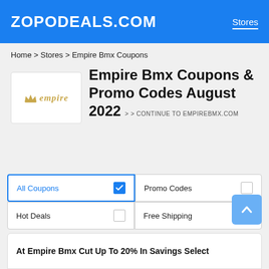ZOPODEALS.COM   Stores
Home > Stores > Empire Bmx Coupons
[Figure (logo): Empire BMX crown logo with italic gold text 'empire']
Empire Bmx Coupons & Promo Codes August 2022 > > CONTINUE TO EMPIREBMX.COM
All Coupons [checked] | Promo Codes [unchecked] | Hot Deals [unchecked] | Free Shipping [unchecked]
At Empire Bmx Cut Up To 20% In Savings Select